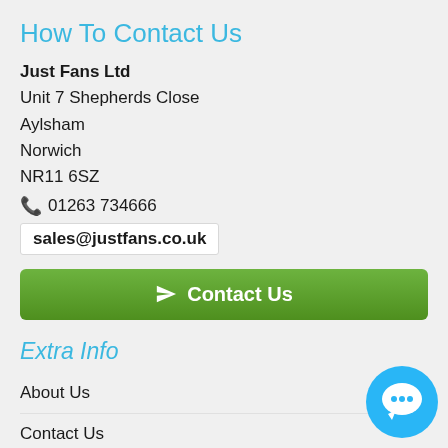How To Contact Us
Just Fans Ltd
Unit 7 Shepherds Close
Aylsham
Norwich
NR11 6SZ
01263 734666
sales@justfans.co.uk
[Figure (other): Green Contact Us button with send/paper-plane icon]
Extra Info
About Us
Contact Us
New Products
Privacy & Cookie Policy
[Figure (other): Blue circular chat bubble icon in bottom-right corner]